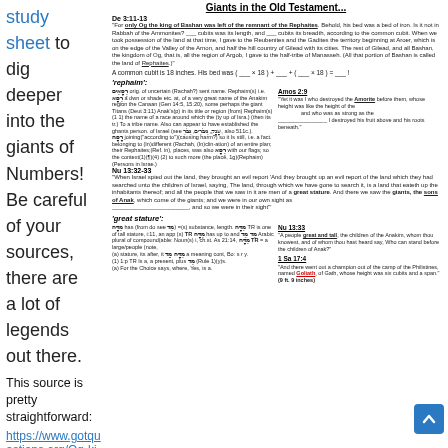Giants in the Old Testament...
De 3:11-13
"For only Og the king of Bashan was left of the remnant of the Rephaites. Behold, his bed was a bed of iron. Is it not in Rabbah of the Ammonites? ___ cubits was its length, and ___ cubits its breadth, according to the common cubit. When we took possession of the land at that time, I gave to the Reubenites and the Gadites the territory beginning at Aroer, which is on the edge of the Valley of the Arnon, and half the hill country of Gilead with its cities. The rest of Gilead, and all Bashan, the kingdom of Og, that is, all the region of Argob, I gave to the half-tribe of Manasseh. (All that portion of Bashan is called the land of Rephaites.)"
A common cubit is 18 inches. His bed was ( ___ x 18 ) + ___ + ( ___ x 18 ) = ___ !
'rephaim':
Hebrew word study notes for rephaim
Amos 2:9
"Yet it was I who destroyed the Amorite before them, whose height was like the height of the cedars and who was as strong as the oaks; I destroyed his fruit above and his roots beneath."
Nu 13:32-33
"When Israel spied out the land, they brought an evil report 'And they brought up an evil report of the land which they had searched unto the children of Israel, saying, The land, through which we have gone to search it, is a land that eateth up the inhabitants thereof; and all the people that we saw in it are men of a great stature. And there we saw the giants, the sons of Anak, which come of the giants; and we were in our own sight as grasshoppers, and so we were in their sight'"
'great stature':
Hebrew word study notes for great stature
Nu 13:33
"A people great and tall, the children of the Anakim, whom thou knowest, and of whom thou hast heard say, Who can stand before the children of Anak?"
1 Sa 17:4
"And there went out a champion out of the camp of the Philistines, named Goliath, of Gath, whose height was six cubits and a span." (9 ft. 9 inches)
study sheet to dig deeper into the giants of Numbers! Be careful of your sources, there are a lot of legends out there.
This source is pretty straightforward:
https://www.gotquestions.org/Og-king-of-Bashan.html
Don't miss the incredible “small” detail in Josh 24:12 that tells us how Og was defeated!